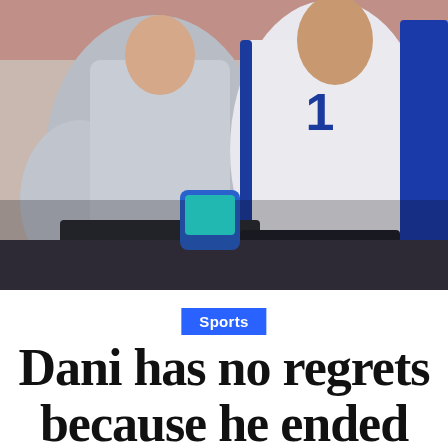[Figure (photo): Two athletes in sports jerseys sitting together, one wearing a white jersey with number 1 in blue, photographed from torso level]
Sports
Dani has no regrets because he ended the Ravens era in